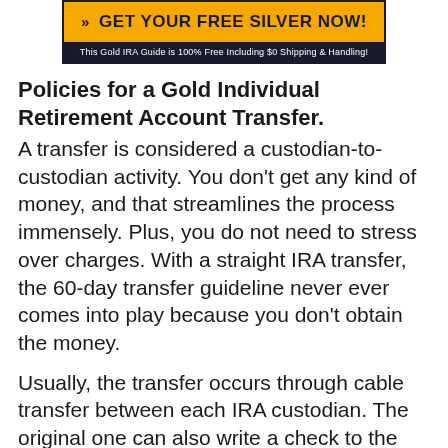[Figure (other): Advertisement banner with yellow button saying 'GET YOUR FREE SILVER NOW!' on dark background, with subtitle 'This Gold IRA Guide is 100% Free Including $0 Shipping & Handling!']
Policies for a Gold Individual Retirement Account Transfer.
A transfer is considered a custodian-to-custodian activity. You don't get any kind of money, and that streamlines the process immensely. Plus, you do not need to stress over charges. With a straight IRA transfer, the 60-day transfer guideline never ever comes into play because you don't obtain the money.
Usually, the transfer occurs through cable transfer between each IRA custodian. The original one can also write a check to the